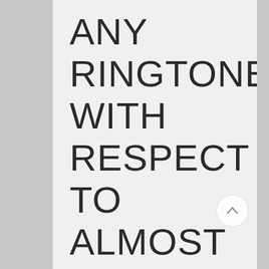ANY RINGTONE WITH RESPECT TO ALMOST ALL HTC AND ALSO LG TRANSPORTABLE
[Figure (other): A circular scroll-to-top button with an upward arrow icon]